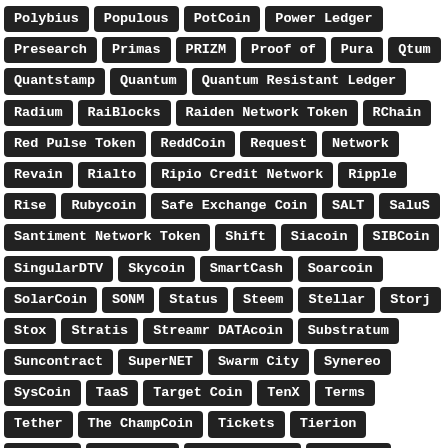Polybius
Populous
PotCoin
Power Ledger
Presearch
Primas
PRIZM
Proof of
Pura
Qtum
Quantstamp
Quantum
Quantum Resistant Ledger
Radium
RaiBlocks
Raiden Network Token
RChain
Red Pulse Token
ReddCoin
Request
Network
Revain
Rialto
Ripio Credit Network
Ripple
Rise
Rubycoin
Safe Exchange Coin
SALT
SaluS
Santiment Network Token
Shift
Siacoin
SIBCoin
SingularDTV
Skycoin
SmartCash
Soarcoin
SolarCoin
SONM
Status
Steem
Stellar
Storj
Stox
Stratis
Streamr DATAcoin
Substratum
Suncontract
SuperNET
Swarm City
Synereo
SysCoin
TaaS
Target Coin
TenX
Terms
Tether
The ChampCoin
Tickets
Tierion
ToaCoin
TokenCard
TransferCoin
Triggers